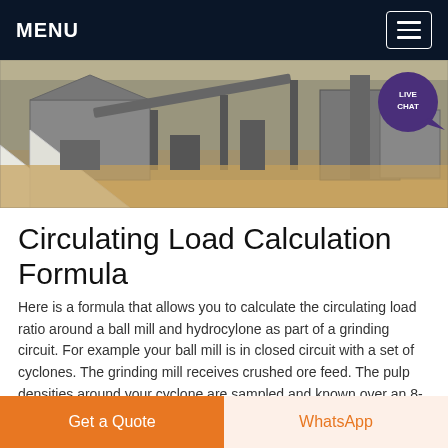MENU
[Figure (photo): Industrial grinding/crushing facility with machinery, conveyor belts, and mining equipment visible outdoors. A 'LIVE CHAT' badge in purple is overlaid in the top right corner.]
Circulating Load Calculation Formula
Here is a formula that allows you to calculate the circulating load ratio around a ball mill and hydrocylone as part of a grinding circuit. For example your ball mill is in closed circuit with a set of cyclones. The grinding mill receives crushed ore feed. The pulp densities around your cyclone are sampled and known over an 8-hour shift,
Get a Quote | WhatsApp